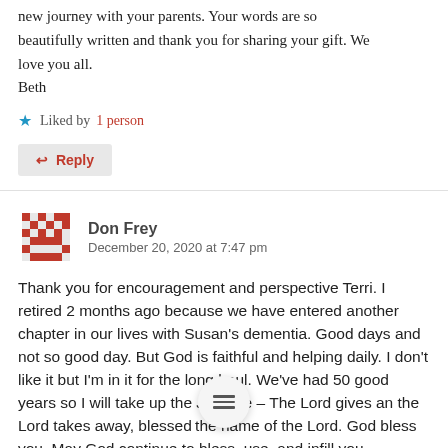new journey with your parents. Your words are so beautifully written and thank you for sharing your gift. We love you all.
Beth
Liked by 1 person
↩ Reply
Don Frey
December 20, 2020 at 7:47 pm
Thank you for encouragement and perspective Terri. I retired 2 months ago because we have entered another chapter in our lives with Susan's dementia. Good days and not so good day. But God is faithful and helping daily. I don't like it but I'm in it for the long haul. We've had 50 good years so I will take up the J—itude – The Lord gives an the Lord takes away, blessed the name of the Lord. God bless you. May God continue to bless, use, and infill you